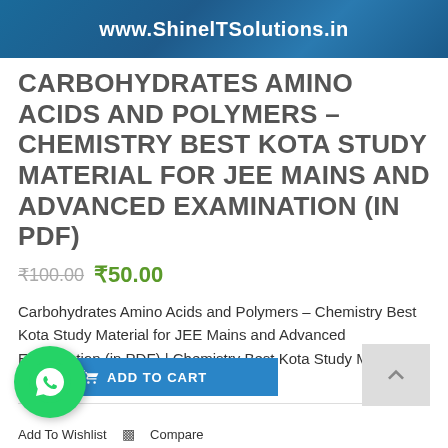[Figure (other): Website header banner with blue gradient background showing URL www.ShinelTSolutions.in in white bold text]
CARBOHYDRATES AMINO ACIDS AND POLYMERS – CHEMISTRY BEST KOTA STUDY MATERIAL FOR JEE MAINS AND ADVANCED EXAMINATION (IN PDF)
₹100.00  ₹50.00
Carbohydrates Amino Acids and Polymers – Chemistry Best Kota Study Material for JEE Mains and Advanced Examination (in PDF) | Chemistry Best Kota Study Material PDF Download
Add To Wishlist   Compare